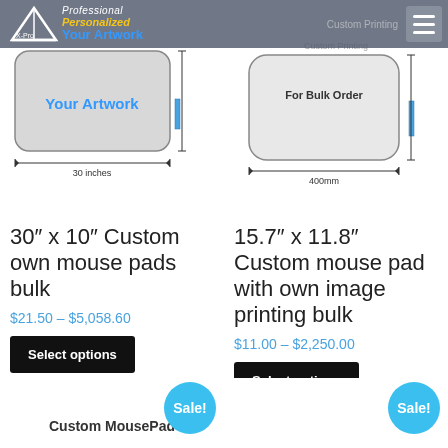Professional Personalized Your Artwork | Custom Printing For Bulk Order
[Figure (illustration): Left product diagram of a wide mouse pad with '30 inches' width label and 'Your Artwork' text]
[Figure (illustration): Right product diagram of a mouse pad with '400mm' width label and 'For Bulk Order' text]
30″ x 10″ Custom own mouse pads bulk
$21.50 – $5,058.60
Select options
15.7″ x 11.8″ Custom mouse pad with own image printing bulk
$11.00 – $2,250.00
Select options
Sale!
Custom MousePad
Sale!